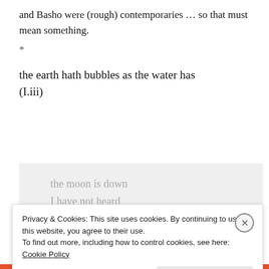and Basho were (rough) contemporaries … so that must mean something.
*
the earth hath bubbles as the water has
(I.iii)
the moon is down
I have not heard
the clock
Privacy & Cookies: This site uses cookies. By continuing to use this website, you agree to their use.
To find out more, including how to control cookies, see here: Cookie Policy
Close and accept